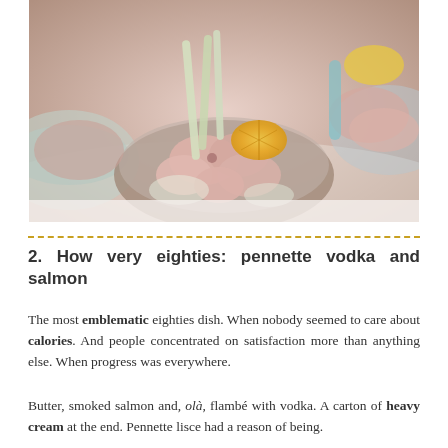[Figure (photo): Food photo showing shrimp or seafood in glass bowls garnished with orange slices and celery stalks, presented as an appetizer with a creamy pink sauce]
2. How very eighties: pennette vodka and salmon
The most emblematic eighties dish. When nobody seemed to care about calories. And people concentrated on satisfaction more than anything else. When progress was everywhere.
Butter, smoked salmon and, olà, flambé with vodka. A carton of heavy cream at the end. Pennette lisce had a reason of being.